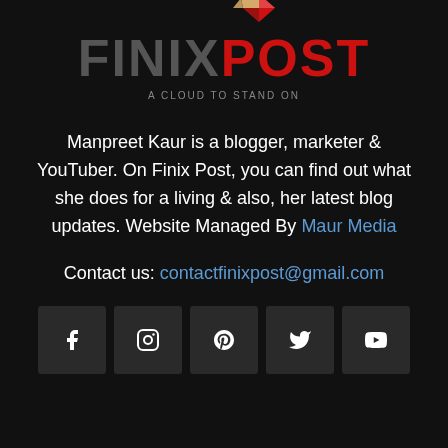[Figure (logo): Finix Post logo with red POST text and geometric diamond/arrow icon above the O, with tagline 'A Cloud To Stand On']
Manpreet Kaur is a blogger, marketer & YouTuber. On Finix Post, you can find out what she does for a living & also, her latest blog updates. Website Managed By Maur Media
Contact us: contactfinixpost@gmail.com
[Figure (infographic): Row of 5 social media icon buttons: Facebook, Instagram, Pinterest, Twitter, YouTube]